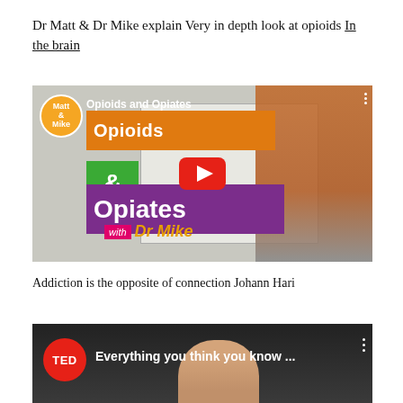Dr Matt & Dr Mike explain Very in depth look at opioids In the brain
[Figure (screenshot): YouTube video thumbnail showing 'Opioids and Opiates with Dr Mike' - a man in a pink t-shirt pointing at a whiteboard, with orange 'Opioids', green '&', and purple 'Opiates' text overlays, and a red YouTube play button]
Addiction is the opposite of connection Johann Hari
[Figure (screenshot): YouTube TED talk video thumbnail showing 'Everything you think you know ...' with TED red circle logo and a person's face visible at the bottom]